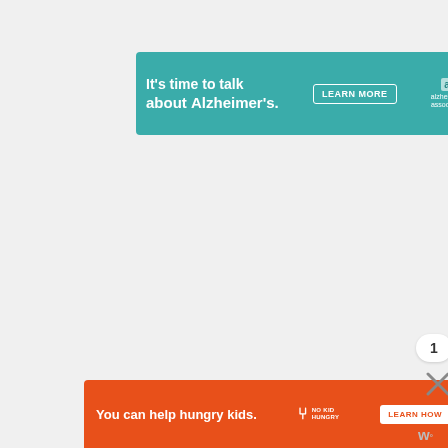[Figure (screenshot): Teal banner advertisement: 'It's time to talk about Alzheimer's.' with LEARN MORE button and Alzheimer's Association logo]
[Figure (screenshot): Yellow accessibility icon button on right edge]
[Figure (screenshot): Orange heart like button]
1
[Figure (screenshot): Share button (circular arrow with plus)]
[Figure (screenshot): Teal chat bubble button on left side]
[Figure (screenshot): WHAT'S NEXT panel showing 'Thaoya 3 Frame...']
[Figure (screenshot): Orange banner advertisement: 'You can help hungry kids.' with No Kid Hungry logo and LEARN HOW button]